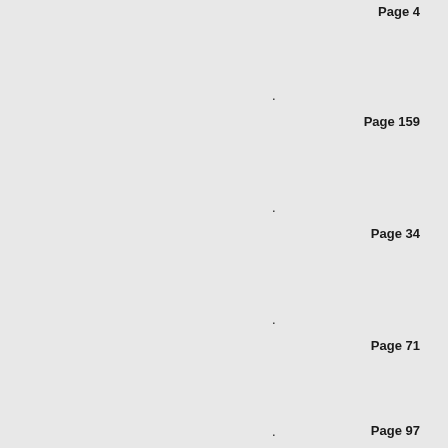Page 4
.
Page 159
.
Page 34
.
Page 71
.
Page 97